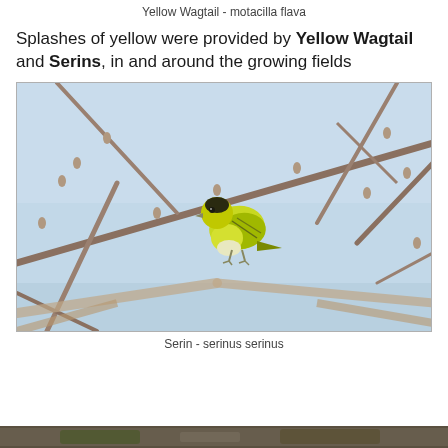Yellow Wagtail - motacilla flava
Splashes of yellow were provided by Yellow Wagtail and Serins, in and around the growing fields
[Figure (photo): A yellow-green Serin bird perched on a bare branch with buds against a light blue sky background]
Serin - serinus serinus
[Figure (photo): Partial bottom strip showing another bird photo, cropped at page edge]